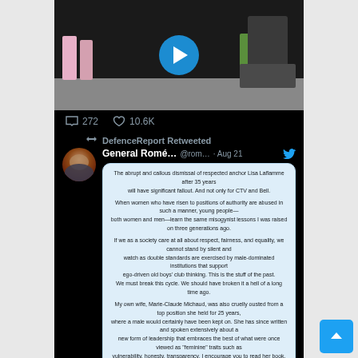[Figure (screenshot): Twitter/social media screenshot. Top portion shows a video with a play button overlay showing people near a military vehicle. Below shows 272 comments and 10.6K likes. Second tweet shows DefenceReport Retweeted General Romé... @rom... Aug 21 with a quoted tweet about Lisa LaFlamme dismissal, signed 'Allez-y. Peux ce que veux.' with 230 comments and 13K likes.]